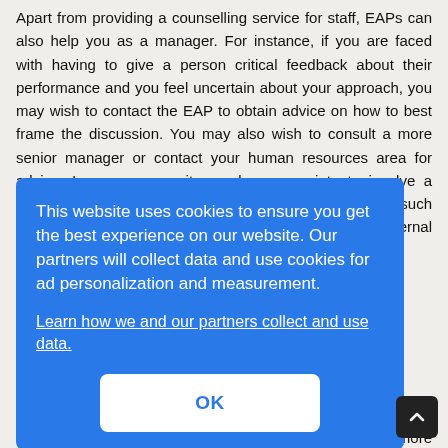Apart from providing a counselling service for staff, EAPs can also help you as a manager. For instance, if you are faced with having to give a person critical feedback about their performance and you feel uncertain about your approach, you may wish to contact the EAP to obtain advice on how to best frame the discussion. You may also wish to consult a more senior manager or contact your human resources area for advice. In some cases it may be appropriate to involve a professionally qualified counsellor outside your agency, such as a medical practitioner. If you are considering an external referral you should not put pressure on the [obscured by cookie banner] only [obscured] [obscured] te. [obscured] let a [obscured] ell [obscured] mal [obscured] one, may be appropriate but, in some situations, a more neutral meeting
[Figure (screenshot): Cookie consent overlay/dialog box with blue background. Text reads: 'This website uses cookies to ensure you get the best experience on our website. Our partners will collect data and use cookies for ad personalization and measurement.' followed by a link 'Learn how we and our partners collect and use data.' and a white OK button.]